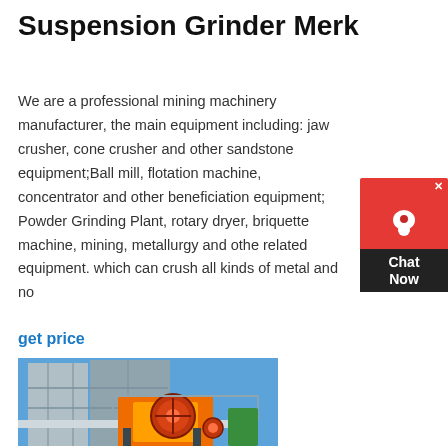Suspension Grinder Merk
We are a professional mining machinery manufacturer, the main equipment including: jaw crusher, cone crusher and other sandstone equipment;Ball mill, flotation machine, concentrator and other beneficiation equipment; Powder Grinding Plant, rotary dryer, briquette machine, mining, metallurgy and other related equipment. which can crush all kinds of metal and no...
get price
[Figure (photo): Industrial mining jaw crusher machine with orange/yellow body, large flywheel, scaffolding structure, and blue sky background at construction/mining site.]